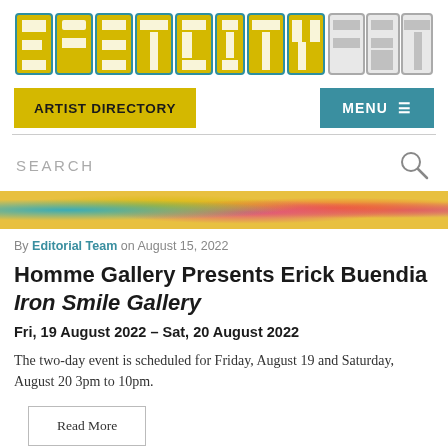[Figure (logo): EastCityArt logo in blocky stylized letters, yellow with teal/blue 3D shadow effect, 'ART' portion in white/grey outline style]
[Figure (screenshot): Navigation bar with yellow 'ARTIST DIRECTORY' button on left and teal 'MENU ≡' button on right]
[Figure (screenshot): Search bar with 'SEARCH' text in grey and magnifying glass icon on right]
[Figure (photo): Colorful art image strip showing bright yellow, pink, teal and orange abstract artwork details]
By Editorial Team on August 15, 2022
Homme Gallery Presents Erick Buendia Iron Smile Gallery
Fri, 19 August 2022 – Sat, 20 August 2022
The two-day event is scheduled for Friday, August 19 and Saturday, August 20 3pm to 10pm.
Read More